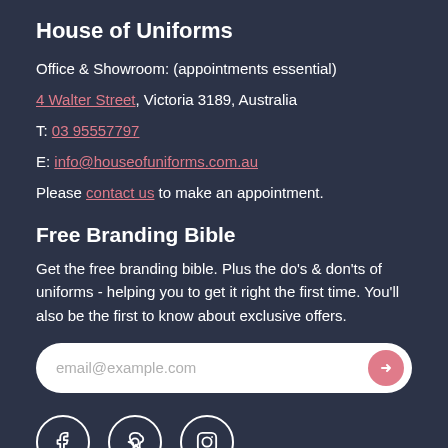House of Uniforms
Office & Showroom: (appointments essential)
4 Walter Street, Victoria 3189, Australia
T: 03 95557797
E: info@houseofuniforms.com.au
Please contact us to make an appointment.
Free Branding Bible
Get the free branding bible. Plus the do's & don'ts of uniforms - helping you to get it right the first time. You'll also be the first to know about exclusive offers.
[Figure (other): Email subscription input field with placeholder text 'email@example.com' and a pink submit arrow button]
[Figure (other): Social media icons: Facebook, Pinterest, Instagram — circular outline icons]